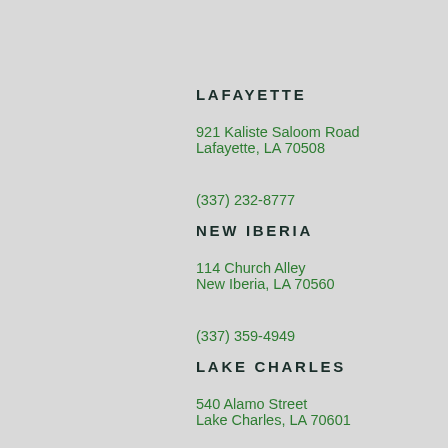LAFAYETTE
921 Kaliste Saloom Road
Lafayette, LA 70508
(337) 232-8777
NEW IBERIA
114 Church Alley
New Iberia, LA 70560
(337) 359-4949
LAKE CHARLES
540 Alamo Street
Lake Charles, LA 70601
(337) 564-6977
JENNINGS